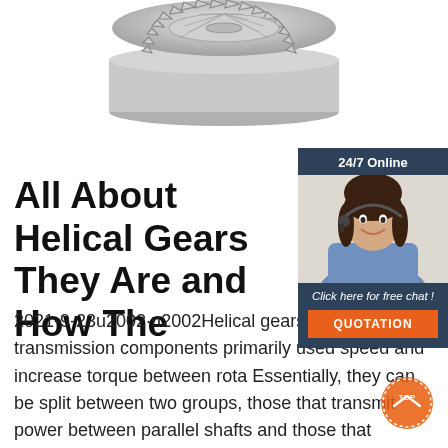[Figure (photo): Close-up photo of a metallic helical/bevel gear, silver colored, viewed from above showing the gear teeth, cropped at top]
[Figure (other): 24/7 Online chat widget with dark blue background, showing a customer service representative (woman with headset), 'Click here for free chat!' text, and an orange QUOTATION button]
All About Helical Gears - What They Are and How The...
2021-9-23u2002·u2002Helical gears are transmission components primarily used to speed and increase torque between rota... Essentially, they can be split between two groups, those that transmit power between parallel shafts and those that transmit power between non-parallel shafts, commonly referred to as cross-axis gears. Although a helical gear in section view has the same
[Figure (logo): Orange TOP badge/button in bottom right corner]